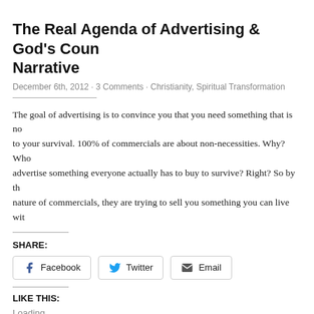The Real Agenda of Advertising & God's Counter Narrative
December 6th, 2012 · 3 Comments · Christianity, Spiritual Transformation
The goal of advertising is to convince you that you need something that is not necessary to your survival. 100% of commercials are about non-necessities. Why? Who would advertise something everyone actually has to buy to survive? Right? So by the very nature of commercials, they are trying to sell you something you can live with...
SHARE:
LIKE THIS:
Loading...
[Read more →]